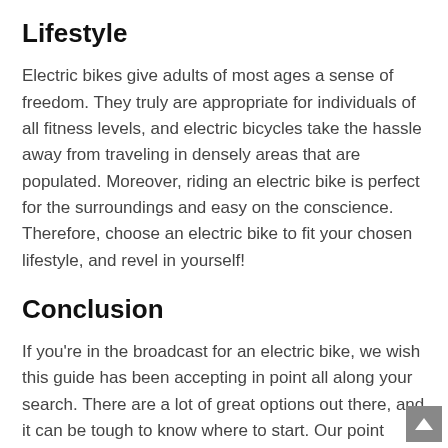Lifestyle
Electric bikes give adults of most ages a sense of freedom. They truly are appropriate for individuals of all fitness levels, and electric bicycles take the hassle away from traveling in densely areas that are populated. Moreover, riding an electric bike is perfect for the surroundings and easy on the conscience. Therefore, choose an electric bike to fit your chosen lifestyle, and revel in yourself!
Conclusion
If you're in the broadcast for an electric bike, we wish this guide has been accepting in point all along your search. There are a lot of great options out there, and it can be tough to know where to start. Our point toward is to provide you later all the assistance you infatuation to